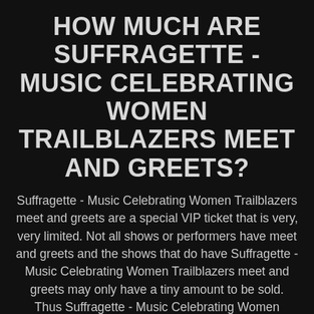HOW MUCH ARE SUFFRAGETTE - MUSIC CELEBRATING WOMEN TRAILBLAZERS MEET AND GREETS?
Suffragette - Music Celebrating Women Trailblazers meet and greets are a special VIP ticket that is very, very limited. Not all shows or performers have meet and greets and the shows that do have Suffragette - Music Celebrating Women Trailblazers meet and greets may only have a tiny amount to be sold. Thus Suffragette - Music Celebrating Women Trailblazers meet and greet ticket prices may be between $1,000 - $5,000 per ticket due to the exclusivity and limited nature of the product. Check Suffragette - Music Celebrating Women Trailblazers meet and greet prices